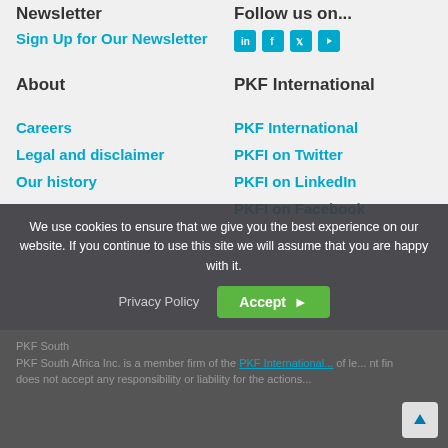Newsletter
Sign Up for Our Newsletter
Follow us on...
[Figure (other): Social media icons: LinkedIn, Facebook, Twitter, YouTube]
About
PKF International
Careers
PKF International
Legal and disclaimer
PKFI on Twitter
Our history
PKFI on LinkedIn
PKFI on Facebook
We use cookies to ensure that we give you the best experience on our website. If you continue to use this site we will assume that you are happy with it.
Privacy Policy
Accept
PKF South Africa Inc. is a member firm of the PKF International... of legal... nt fi... does not accept any responsibility or liability for the actions...